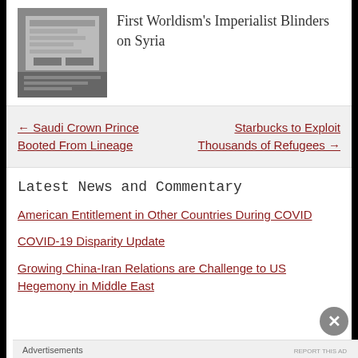First Worldism’s Imperialist Blinders on Syria
← Saudi Crown Prince Booted From Lineage
Starbucks to Exploit Thousands of Refugees →
Latest News and Commentary
American Entitlement in Other Countries During COVID
COVID-19 Disparity Update
Growing China-Iran Relations are Challenge to US Hegemony in Middle East
Advertisements